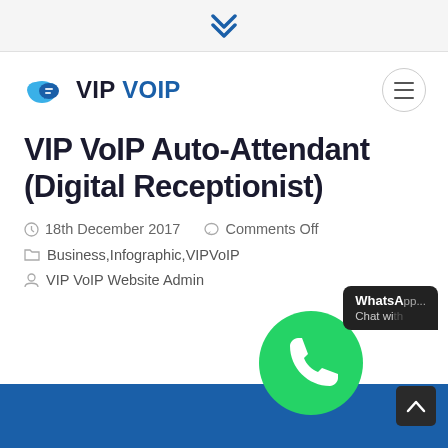VIP VOIP (navigation bar with chevron and hamburger menu)
[Figure (logo): VIP VoIP logo with blue cloud/speech-bubble icon and bold text 'VIP VOIP']
VIP VoIP Auto-Attendant (Digital Receptionist)
18th December 2017   Comments Off
Business,Infographic,VIPVoIP
VIP VoIP Website Admin
[Figure (illustration): WhatsApp green phone bubble icon with dark tooltip showing 'WhatsApp Chat wi...' and scroll-up arrow button]
[Figure (illustration): Blue banner at bottom of page]